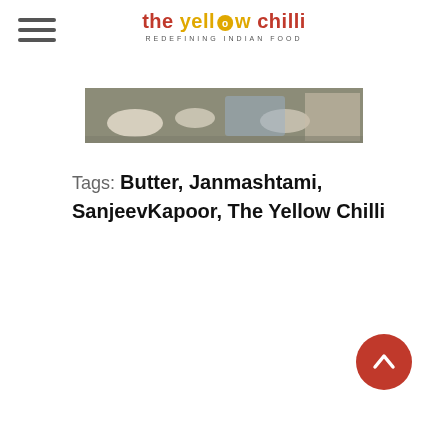the yellow chilli — REDEFINING INDIAN FOOD
[Figure (photo): Photo strip showing a kitchen/restaurant scene with food, plates, and a person]
Tags: Butter, Janmashtami, SanjeevKapoor, The Yellow Chilli
[Figure (other): Back-to-top button: red circle with white upward chevron arrow]